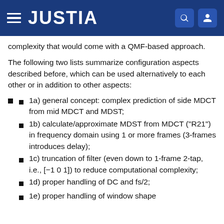JUSTIA
complexity that would come with a QMF-based approach.
The following two lists summarize configuration aspects described before, which can be used alternatively to each other or in addition to other aspects:
1a) general concept: complex prediction of side MDCT from mid MDCT and MDST;
1b) calculate/approximate MDST from MDCT ("R21") in frequency domain using 1 or more frames (3-frames introduces delay);
1c) truncation of filter (even down to 1-frame 2-tap, i.e., [−1 0 1]) to reduce computational complexity;
1d) proper handling of DC and fs/2;
1e) proper handling of window shape